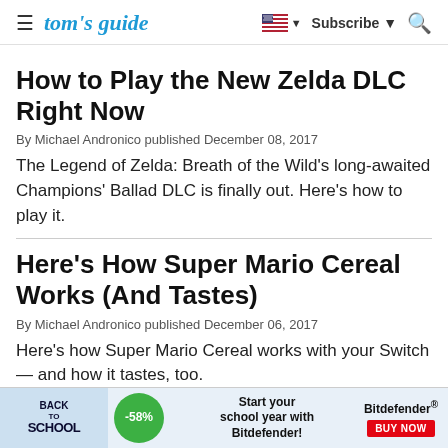tom's guide | Subscribe | Search
How to Play the New Zelda DLC Right Now
By Michael Andronico published December 08, 2017
The Legend of Zelda: Breath of the Wild's long-awaited Champions' Ballad DLC is finally out. Here's how to play it.
Here's How Super Mario Cereal Works (And Tastes)
By Michael Andronico published December 06, 2017
Here's how Super Mario Cereal works with your Switch — and how it tastes, too.
[Figure (infographic): Advertisement banner: Back to School with -58% discount and Bitdefender Buy Now button]